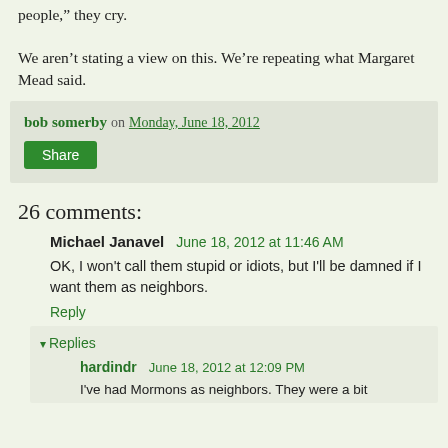people," they cry.
We aren't stating a view on this. We're repeating what Margaret Mead said.
bob somerby on Monday, June 18, 2012
Share
26 comments:
Michael Janavel   June 18, 2012 at 11:46 AM
OK, I won't call them stupid or idiots, but I'll be damned if I want them as neighbors.
Reply
▾ Replies
hardindr   June 18, 2012 at 12:09 PM
I've had Mormons as neighbors. They were a bit